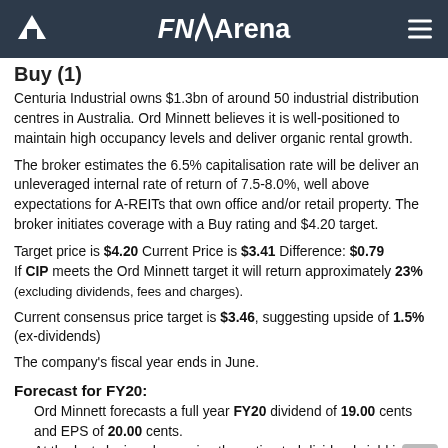FNArena
Buy (1)
Centuria Industrial owns $1.3bn of around 50 industrial distribution centres in Australia. Ord Minnett believes it is well-positioned to maintain high occupancy levels and deliver organic rental growth.
The broker estimates the 6.5% capitalisation rate will be deliver an unleveraged internal rate of return of 7.5-8.0%, well above expectations for A-REITs that own office and/or retail property. The broker initiates coverage with a Buy rating and $4.20 target.
Target price is $4.20 Current Price is $3.41 Difference: $0.79
If CIP meets the Ord Minnett target it will return approximately 23%
(excluding dividends, fees and charges).
Current consensus price target is $3.46, suggesting upside of 1.5% (ex-dividends)
The company's fiscal year ends in June.
Forecast for FY20:
Ord Minnett forecasts a full year FY20 dividend of 19.00 cents and EPS of 20.00 cents.
At the last closing share price the estimated dividend yield is 5.57%.